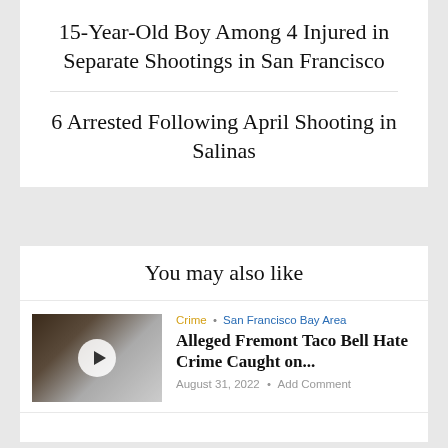15-Year-Old Boy Among 4 Injured in Separate Shootings in San Francisco
6 Arrested Following April Shooting in Salinas
You may also like
Crime • San Francisco Bay Area
Alleged Fremont Taco Bell Hate Crime Caught on...
August 31, 2022 • Add Comment
San Francisco Bay Area • Violent Crime
Off-Duty San Jose Police Officer's Car Shot...